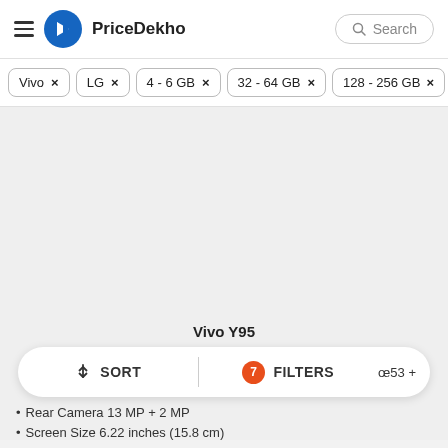PriceDekho
Vivo ×
LG ×
4 - 6 GB ×
32 - 64 GB ×
128 - 256 GB ×
Vivo Y95
↓↑ SORT
7 FILTERS
Rear Camera 13 MP + 2 MP
Screen Size 6.22 inches (15.8 cm)